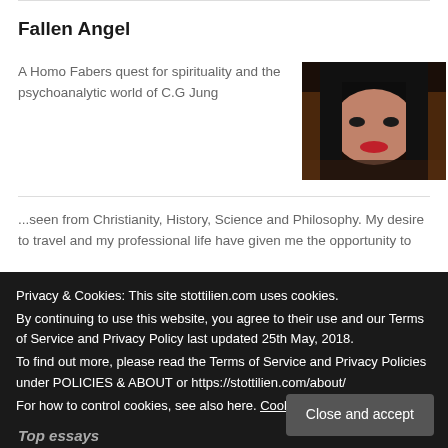Fallen Angel
A Homo Fabers quest for spirituality and the psychoanalytic world of C.G Jung
[Figure (photo): Dark-haired woman with bangs and red lipstick, close-up portrait in dark tones]
...seen from Christianity, History, Science and Philosophy. My desire to travel and my professional life have given me the opportunity to
Privacy & Cookies: This site stottilien.com uses cookies.
By continuing to use this website, you agree to their use and our Terms of Service and Privacy Policy last updated 25th May, 2018.
To find out more, please read the Terms of Service and Privacy Policies under POLICIES & ABOUT or https://stottilien.com/about/
For how to control cookies, see also here. Cookie Policy
Close and accept
Top essays